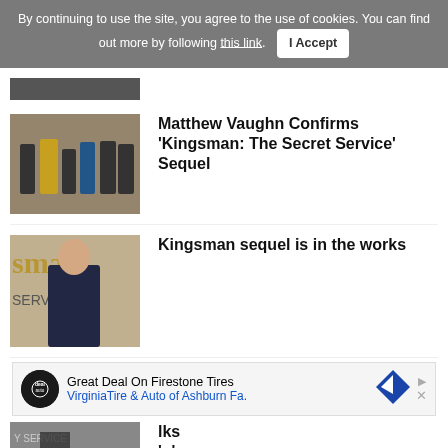By continuing to use the site, you agree to the use of cookies. You can find out more by following this link. I Accept
[Figure (photo): Partial image at top of page, partially cropped]
Matthew Vaughn Confirms 'Kingsman: The Secret Service' Sequel
[Figure (photo): Photo of Kingsman cast group standing together in suits]
Kingsman sequel is in the works
[Figure (photo): Photo of man in dark suit at Kingsman event]
[Figure (other): Advertisement: Great Deal On Firestone Tires - VirginiaTire & Auto of Ashburn Fa.]
[Figure (photo): Partial bottom image of Kingsman event, partially cropped]
...lks 'n'